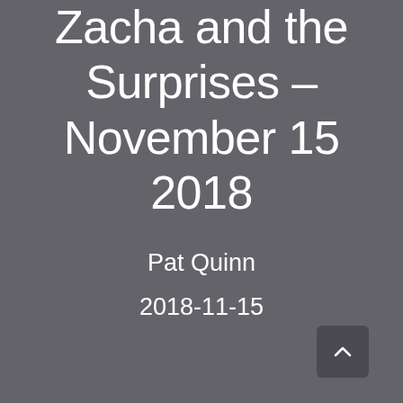Zacha and the Surprises – November 15 2018
Pat Quinn
2018-11-15